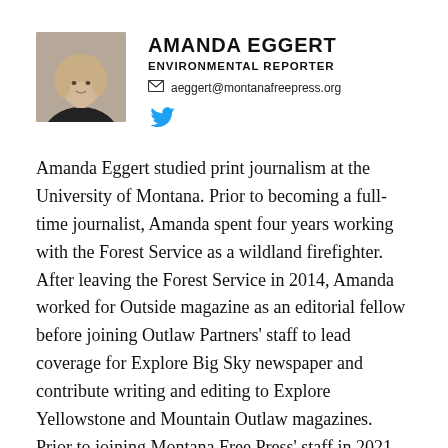[Figure (photo): Headshot photo of Amanda Eggert, a woman with light hair wearing a dark top]
AMANDA EGGERT
ENVIRONMENTAL REPORTER
aeggert@montanafreepress.org
[Figure (logo): Twitter bird icon]
Amanda Eggert studied print journalism at the University of Montana. Prior to becoming a full-time journalist, Amanda spent four years working with the Forest Service as a wildland firefighter. After leaving the Forest Service in 2014, Amanda worked for Outside magazine as an editorial fellow before joining Outlaw Partners' staff to lead coverage for Explore Big Sky newspaper and contribute writing and editing to Explore Yellowstone and Mountain Outlaw magazines. Prior to joining Montana Free Press' staff in 2021 Amanda was a